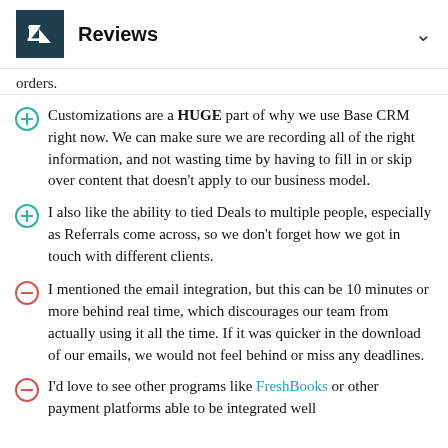Reviews
orders.
Customizations are a HUGE part of why we use Base CRM right now. We can make sure we are recording all of the right information, and not wasting time by having to fill in or skip over content that doesn't apply to our business model.
I also like the ability to tied Deals to multiple people, especially as Referrals come across, so we don't forget how we got in touch with different clients.
I mentioned the email integration, but this can be 10 minutes or more behind real time, which discourages our team from actually using it all the time. If it was quicker in the download of our emails, we would not feel behind or miss any deadlines.
I'd love to see other programs like FreshBooks or other payment platforms able to be integrated well